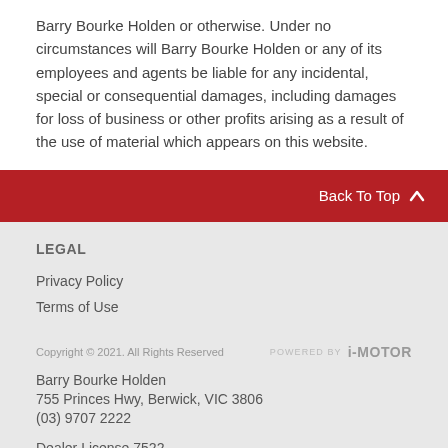Barry Bourke Holden or otherwise. Under no circumstances will Barry Bourke Holden or any of its employees and agents be liable for any incidental, special or consequential damages, including damages for loss of business or other profits arising as a result of the use of material which appears on this website.
LEGAL
Privacy Policy
Terms of Use
Copyright © 2021. All Rights Reserved
Barry Bourke Holden
755 Princes Hwy, Berwick, VIC 3806
(03) 9707 2222
Dealer License 7522